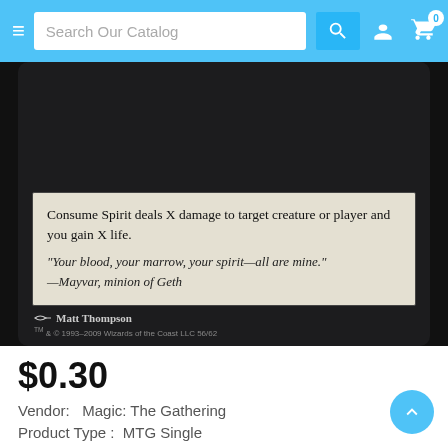Search Our Catalog
[Figure (photo): Magic: The Gathering card (Consume Spirit) showing card text box: 'Consume Spirit deals X damage to target creature or player and you gain X life.' Flavor text: 'Your blood, your marrow, your spirit—all are mine.' —Mayvar, minion of Geth. Artist: Matt Thompson. TM & © 1993-2009 Wizards of the Coast LLC 56/62]
$0.30
Vendor:  Magic: The Gathering
Product Type :  MTG Single
Add To Wishlist    Grading Guide
Title
Near Mint    Lightly Played